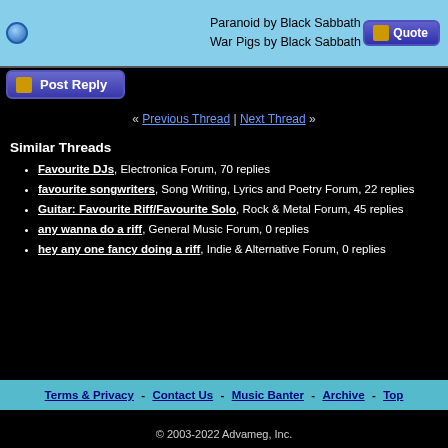Paranoid by Black Sabbath
War Pigs by Black Sabbath
Post Reply
« Previous Thread | Next Thread »
Similar Threads
Favourite DJs, Electronica Forum, 70 replies
favourite songwriters, Song Writing, Lyrics and Poetry Forum, 22 replies
Guitar: Favourite Riff/Favourite Solo, Rock & Metal Forum, 45 replies
any wanna do a riff, General Music Forum, 0 replies
hey any one fancy doing a riff, Indie & Alternative Forum, 0 replies
Terms & Privacy - Contact Us - Music Banter - Archive - Top
© 2003-2022 Advameg, Inc.